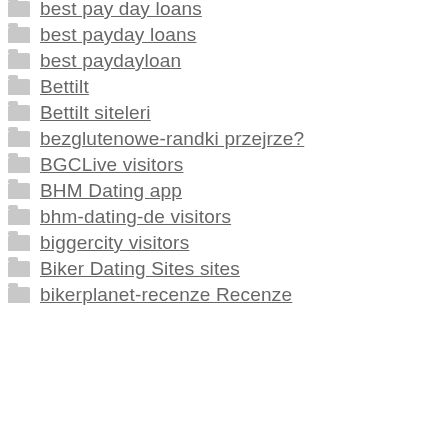best pay day loans
best payday loans
best paydayloan
Bettilt
Bettilt siteleri
bezglutenowe-randki przejrze?
BGCLive visitors
BHM Dating app
bhm-dating-de visitors
biggercity visitors
Biker Dating Sites sites
bikerplanet-recenze Recenze